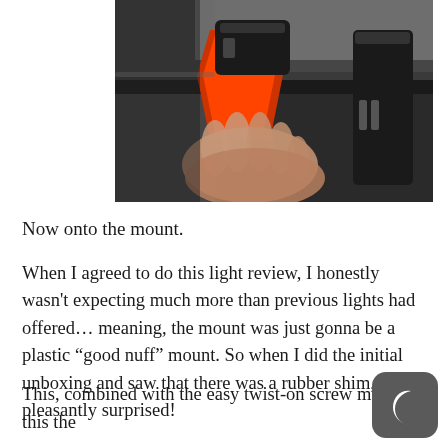[Figure (photo): A close-up photo of a person's hand attaching a bicycle light mount with an orange/red rubber strap onto a black handlebar. A black stem/clamp is visible on the right side.]
Now onto the mount.
When I agreed to do this light review, I honestly wasn't expecting much more than previous lights had offered… meaning, the mount was just gonna be a plastic “good nuff” mount. So when I did the initial unboxing and saw that there was a rubber shim, I was pleasantly surprised!
This, combined with the easy twist-on screw makes this the